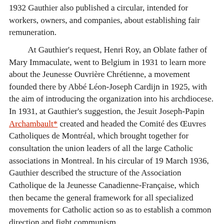1932 Gauthier also published a circular, intended for workers, owners, and companies, about establishing fair remuneration.
At Gauthier's request, Henri Roy, an Oblate father of Mary Immaculate, went to Belgium in 1931 to learn more about the Jeunesse Ouvrière Chrétienne, a movement founded there by Abbé Léon-Joseph Cardijn in 1925, with the aim of introducing the organization into his archdiocese. In 1931, at Gauthier's suggestion, the Jesuit Joseph-Papin Archambault* created and headed the Comité des Œuvres Catholiques de Montréal, which brought together for consultation the union leaders of all the large Catholic associations in Montreal. In his circular of 19 March 1936, Gauthier described the structure of the Association Catholique de la Jeunesse Canadienne-Française, which then became the general framework for all specialized movements for Catholic action so as to establish a common direction and fight communism.